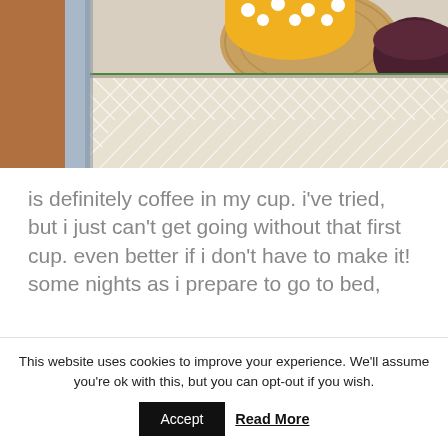[Figure (photo): Close-up photo of a wooden bedside table or nightstand with a geometric patterned drawer. On top sits a yellow polka-dot mug on a cork coaster, along with what appears to be a dark bowl or cup. The wooden furniture has a blue and white geometric design.]
is definitely coffee in my cup. i've tried, but i just can't get going without that first cup. even better if i don't have to make it! some nights as i prepare to go to bed,
This website uses cookies to improve your experience. We'll assume you're ok with this, but you can opt-out if you wish.